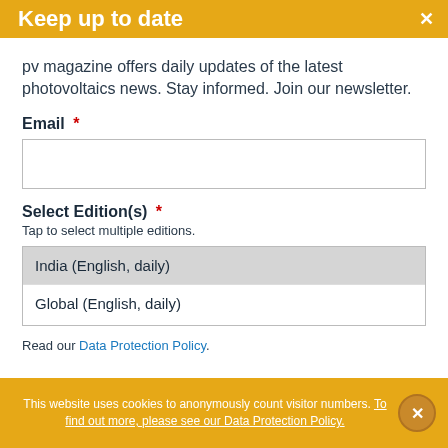Keep up to date
pv magazine offers daily updates of the latest photovoltaics news. Stay informed. Join our newsletter.
Email *
Select Edition(s) *
Tap to select multiple editions.
India (English, daily)
Global (English, daily)
Read our Data Protection Policy.
This website uses cookies to anonymously count visitor numbers. To find out more, please see our Data Protection Policy.